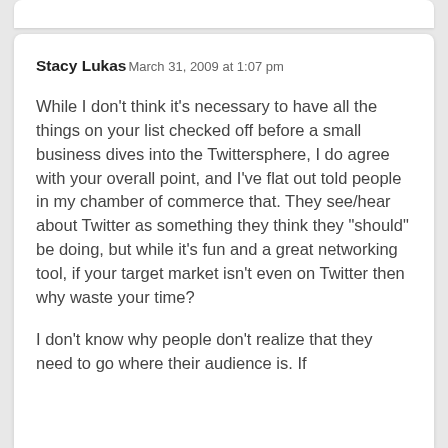Stacy Lukas  March 31, 2009 at 1:07 pm
While I don’t think it’s necessary to have all the things on your list checked off before a small business dives into the Twittersphere, I do agree with your overall point, and I’ve flat out told people in my chamber of commerce that. They see/hear about Twitter as something they think they “should” be doing, but while it’s fun and a great networking tool, if your target market isn’t even on Twitter then why waste your time?
I don’t know why people don’t realize that they need to go where their audience is. If